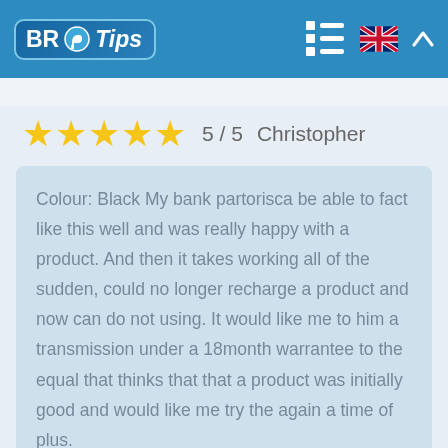BR Tips
5 / 5  Christopher
Colour: Black My bank partorisca be able to fact like this well and was really happy with a product. And then it takes working all of the sudden, could no longer recharge a product and now can do not using. It would like me to him a transmission under a 18month warrantee to the equal that thinks that that a product was initially good and would like me try the again a time of plus.